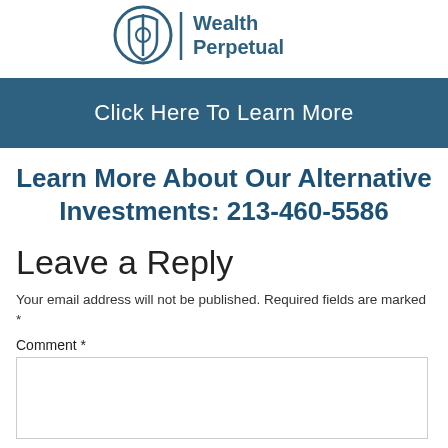[Figure (logo): Wealth Perpetual logo: shield/circle icon with vertical bar divider and text 'Wealth Perpetual' in dark teal]
Click Here To Learn More
Learn More About Our Alternative Investments: 213-460-5586
Leave a Reply
Your email address will not be published. Required fields are marked *
Comment *